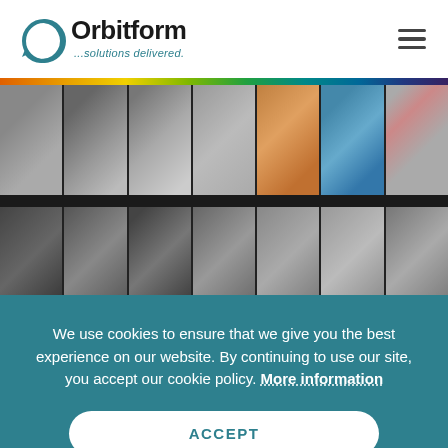[Figure (logo): Orbitform logo with circular arrow icon and tagline '...solutions delivered.']
[Figure (photo): Grid of manufacturing/engineering photos showing machinery and metal riveting close-ups]
We use cookies to ensure that we give you the best experience on our website. By continuing to use our site, you accept our cookie policy. More information
ACCEPT